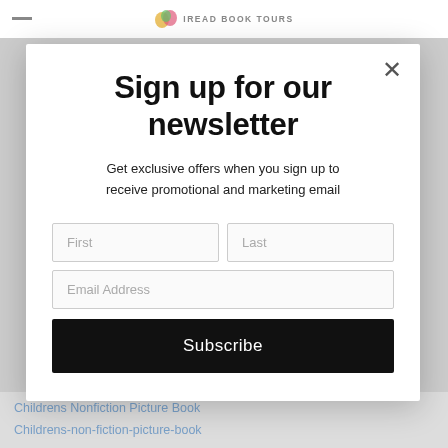iREAD BOOK TOURS
Sign up for our newsletter
Get exclusive offers when you sign up to receive promotional and marketing email
Subscribe
Childrens Nonfiction Picture Book
Childrens-non-fiction-picture-book